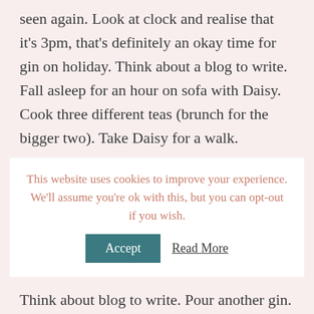seen again.  Look at clock and realise that it's 3pm, that's definitely an okay time for gin on holiday.  Think about a blog to write.  Fall asleep for an hour on sofa with Daisy.  Cook three different teas (brunch for the bigger two).  Take Daisy for a walk.
This website uses cookies to improve your experience. We'll assume you're ok with this, but you can opt-out if you wish. Accept  Read More
Think about blog to write. Pour another gin.  Sit on sofa for 'just 5 mins' with Daisy to have cuddles.  4 hours later realise that it's time for bed... [/vc_column_text][vc_column_text]
D... 2:25